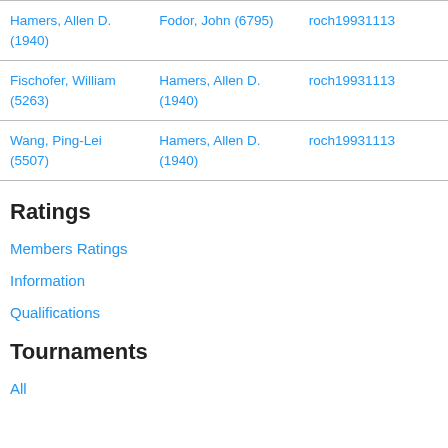| Hamers, Allen D. (1940) | Fodor, John (6795) | roch19931113 |
| Fischofer, William (5263) | Hamers, Allen D. (1940) | roch19931113 |
| Wang, Ping-Lei (5507) | Hamers, Allen D. (1940) | roch19931113 |
Ratings
Members Ratings
Information
Qualifications
Tournaments
All